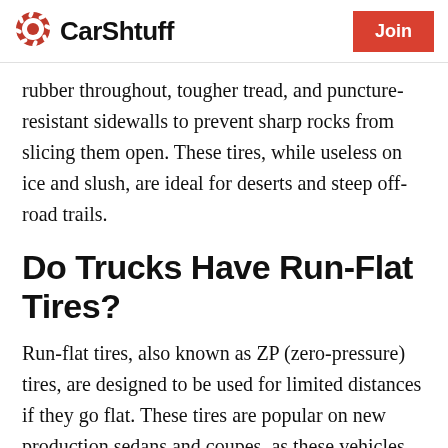CarShtuff | Join
rubber throughout, tougher tread, and puncture-resistant sidewalls to prevent sharp rocks from slicing them open. These tires, while useless on ice and slush, are ideal for deserts and steep off-road trails.
Do Trucks Have Run-Flat Tires?
Run-flat tires, also known as ZP (zero-pressure) tires, are designed to be used for limited distances if they go flat. These tires are popular on new production sedans and coupes, as these vehicles have omitted a spare tire or inflator kit for quite